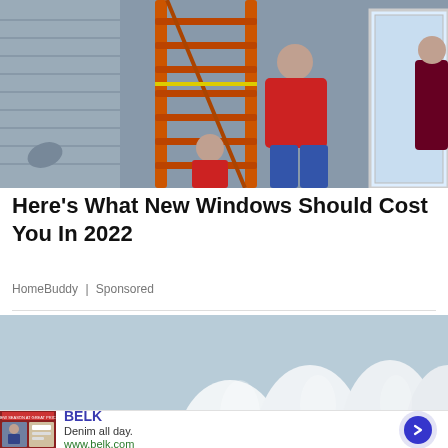[Figure (photo): People installing a window on the exterior of a house. An orange ladder is visible in the center. One person in a red shirt and jeans stands on the ladder, another person crouches below near the base. A white window frame is being held in place.]
Here's What New Windows Should Cost You In 2022
HomeBuddy | Sponsored
[Figure (photo): Close-up image of white teeth/dental crowns, light blue-gray background]
[Figure (screenshot): Advertisement banner for BELK. Shows brand name BELK in blue, tagline 'Denim all day.' and URL www.belk.com. Left side has thumbnail images of women in denim. Right side has a circular play/next button in dark blue.]